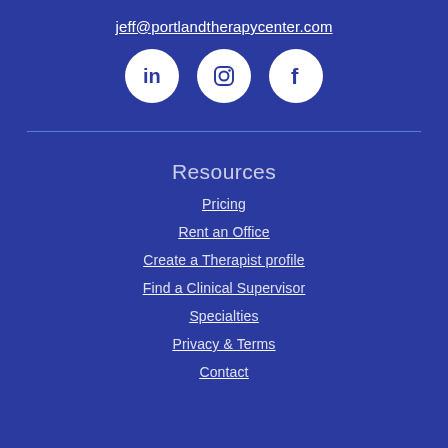jeff@portlandtherapycenter.com
[Figure (illustration): Three white circular social media icons on dark blue background: LinkedIn (in), Instagram (camera), Facebook (f)]
Resources
Pricing
Rent an Office
Create a Therapist profile
Find a Clinical Supervisor
Specialties
Privacy & Terms
Contact